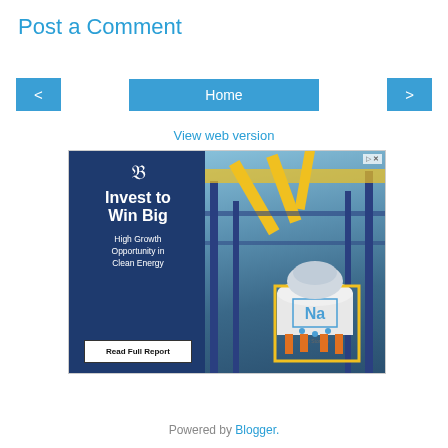Post a Comment
< Home >
View web version
[Figure (photo): Advertisement banner: 'Invest to Win Big - High Growth Opportunity in Clean Energy - Read Full Report' with industrial sodium (Na) energy storage facility image on the right side.]
Powered by Blogger.